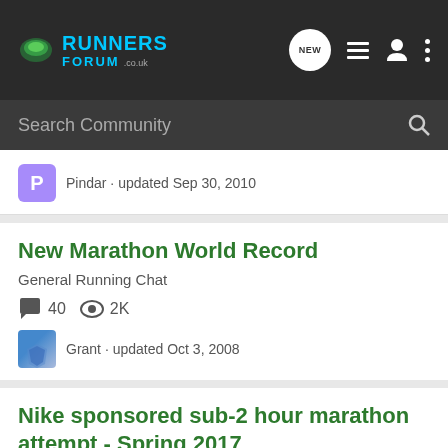Runners Forum .co.uk
Search Community
Pindar · updated Sep 30, 2010
New Marathon World Record
General Running Chat
40  2K
Grant · updated Oct 3, 2008
Nike sponsored sub-2 hour marathon attempt - Spring 2017
General Running Chat
60  5K